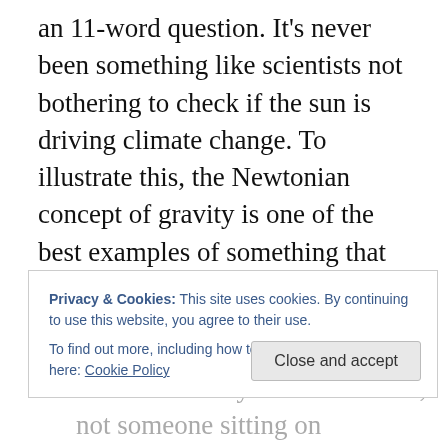an 11-word question. It's never been something like scientists not bothering to check if the sun is driving climate change. To illustrate this, the Newtonian concept of gravity is one of the best examples of something that was widely accepted in the modern scientific era that turned out to be wrong, but that was discredited by the amazingly complex concept of relativity! Further, Newton wasn't wrong so much as incomplete (as usually is the case). Another good example is the concept that continents are stationary. This was replaced by plate tectonics, which, again, is neither obvious nor simple. Finally, it is worth
Privacy & Cookies: This site uses cookies. By continuing to use this website, you agree to their use. To find out more, including how to control cookies, see here: Cookie Policy
scientists with years of research, not someone sitting on